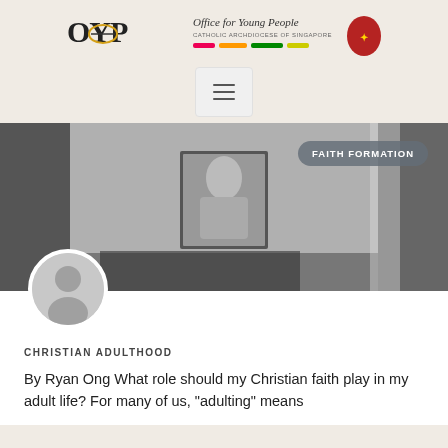[Figure (logo): OYP Office for Young People Catholic Archdiocese of Singapore logo with tagline and archdiocesan crest]
[Figure (other): Hamburger menu navigation button]
[Figure (photo): Black and white photo of a room interior with a framed portrait hanging on the wall, with a FAITH FORMATION badge overlay]
[Figure (illustration): Default user avatar circle icon]
CHRISTIAN ADULTHOOD
By Ryan Ong What role should my Christian faith play in my adult life? For many of us, "adulting" means